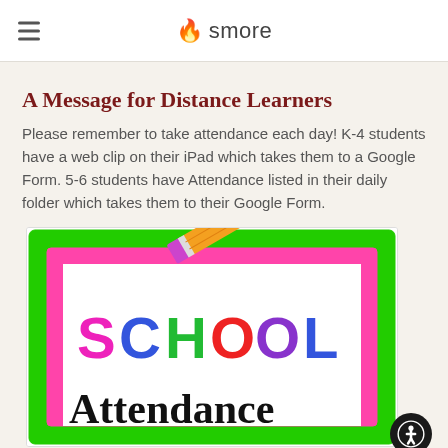smore
A Message for Distance Learners
Please remember to take attendance each day! K-4 students have a web clip on their iPad which takes them to a Google Form. 5-6 students have Attendance listed in their daily folder which takes them to their Google Form.
[Figure (illustration): School Attendance colorful poster clip art with green and pink wavy border, large colorful letters spelling SCHOOL in pink, blue, green, red, purple, and the word Attendance below in black, with a pencil graphic at the top.]